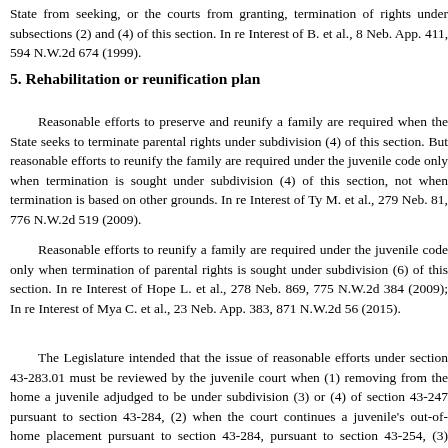State from seeking, or the courts from granting, termination of rights under subsections (2) and (4) of this section. In re Interest of B. et al., 8 Neb. App. 411, 594 N.W.2d 674 (1999).
5. Rehabilitation or reunification plan
Reasonable efforts to preserve and reunify a family are required when the State seeks to terminate parental rights under subdivision (4) of this section. But reasonable efforts to reunify the family are required under the juvenile code only when termination is sought under subdivision (4) of this section, not when termination is based on other grounds. In re Interest of Ty M. et al., 279 Neb. 81, 776 N.W.2d 519 (2009).
Reasonable efforts to reunify a family are required under the juvenile code only when termination of parental rights is sought under subdivision (6) of this section. In re Interest of Hope L. et al., 278 Neb. 869, 775 N.W.2d 384 (2009); In re Interest of Mya C. et al., 23 Neb. App. 383, 871 N.W.2d 56 (2015).
The Legislature intended that the issue of reasonable efforts under section 43-283.01 must be reviewed by the juvenile court when (1) removing from the home a juvenile adjudged to be under subdivision (3) or (4) of section 43-247 pursuant to section 43-284, (2) when the court continues a juvenile's out-of-home placement pursuant to section 43-284, pursuant to section 43-254, (3) when the court reviews